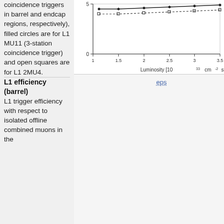coincidence triggers in barrel and endcap regions, respectively), filled circles are for L1 MU11 (3-station coincidence trigger) and open squares are for L1 2MU4.
[Figure (continuous-plot): Plot showing trigger rates vs Luminosity [10^33 cm^-2 s^-1], with x-axis from 1 to 3.5 and y-axis from 0 to 5. Two data series shown as filled circles and open squares (dashed), both increasing with luminosity.]
eps
L1 efficiency (barrel)
L1 trigger efficiency with respect to isolated offline combined muons in the